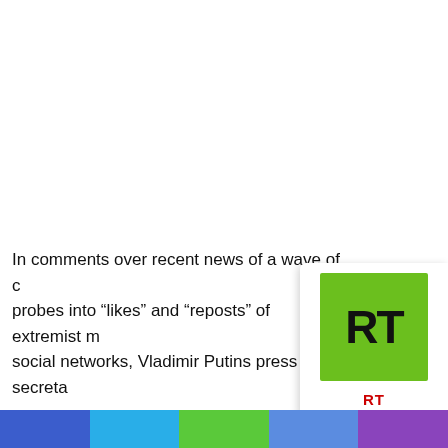[Figure (logo): RT (Russia Today) logo — white card with green square containing bold black 'RT' text, and red 'RT' label below]
In comments over recent news of a wave of criminal probes into “likes” and “reposts” of extremist material on social networks, Vladimir Putins press secreta